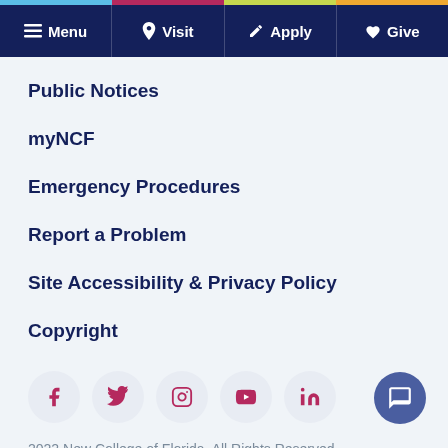Menu | Visit | Apply | Give
Public Notices
myNCF
Emergency Procedures
Report a Problem
Site Accessibility & Privacy Policy
Copyright
[Figure (infographic): Row of 5 social media icon circles: Facebook, Twitter, Instagram, YouTube, LinkedIn]
2022 New College of Florida. All Rights Reserved.